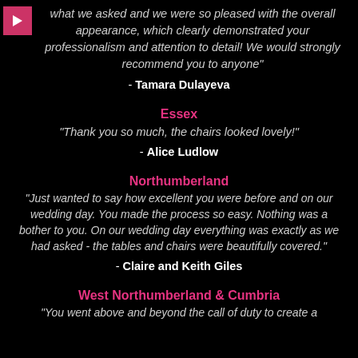what we asked and we were so pleased with the overall appearance, which clearly demonstrated your professionalism and attention to detail! We would strongly recommend you to anyone"
- Tamara Dulayeva
Essex
"Thank you so much, the chairs looked lovely!"
- Alice Ludlow
Northumberland
"Just wanted to say how excellent you were before and on our wedding day. You made the process so easy. Nothing was a bother to you. On our wedding day everything was exactly as we had asked - the tables and chairs were beautifully covered."
- Claire and Keith Giles
West Northumberland & Cumbria
"You went above and beyond the call of duty to create a